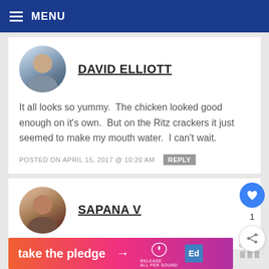MENU
DAVID ELLIOTT
It all looks so yummy.  The chicken looked good enough on it's own.  But on the Ritz crackers it just seemed to make my mouth water.  I can't wait.
POSTED ON APRIL 15, 2017 @ 10:20 AM   REPLY
SAPANA V
[Figure (infographic): take the pledge advertisement banner with gradient background and release logo]